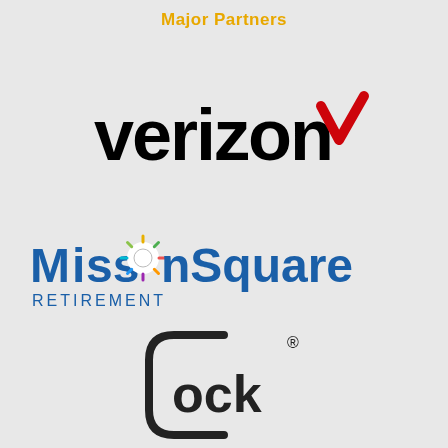Major Partners
[Figure (logo): Verizon logo in black bold lowercase text with a red checkmark]
[Figure (logo): MissionSquare Retirement logo in blue text with colorful sunburst replacing the 'o' in Mission]
[Figure (logo): Glock logo showing rounded rectangle bracket with text 'ock' and registered trademark symbol]